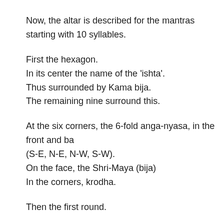Now, the altar is described for the mantras starting with 10 syllables.
First the hexagon.
In its center the name of the 'ishta'.
Thus surrounded by Kama bija.
The remaining nine surround this.
At the six corners, the 6-fold anga-nyasa, in the front and back (S-E, N-E, N-W, S-W).
On the face, the Shri-Maya (bija)
In the corners, krodha.
Then the first round.
Then the 8-petals; on the petals, garlands of syllables, in mu
Surrounding this, in all directions.
Outside this the Bhupura, with 8 spear-points.
In all directions, Narasimha and Varaha.